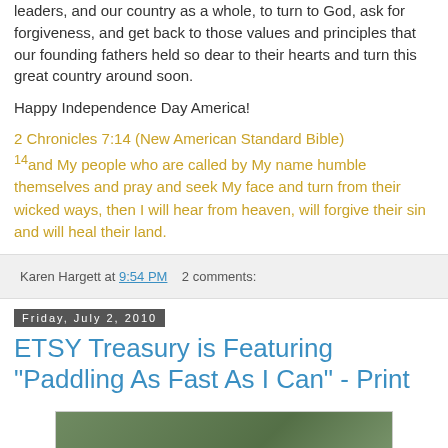leaders, and our country as a whole, to turn to God, ask for forgiveness, and get back to those values and principles that our founding fathers held so dear to their hearts and turn this great country around soon.
Happy Independence Day America!
2 Chronicles 7:14 (New American Standard Bible)
14and My people who are called by My name humble themselves and pray and seek My face and turn from their wicked ways, then I will hear from heaven, will forgive their sin and will heal their land.
Karen Hargett at 9:54 PM    2 comments:
Friday, July 2, 2010
ETSY Treasury is Featuring "Paddling As Fast As I Can" - Print
[Figure (photo): A photograph thumbnail showing a green/nature scene]